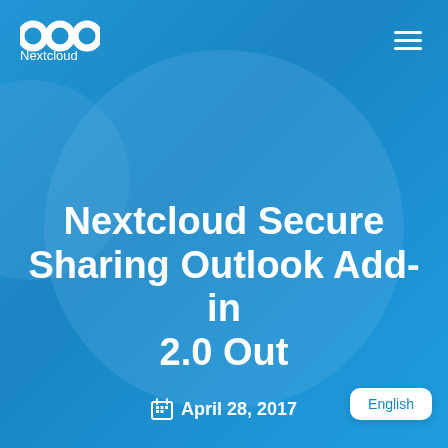[Figure (logo): Nextcloud logo — three white circles and 'Nextcloud' text in white on blue background]
[Figure (other): Hamburger menu icon — three white horizontal lines on blue background]
Nextcloud Secure Sharing Outlook Add-in 2.0 Out
April 28, 2017
English